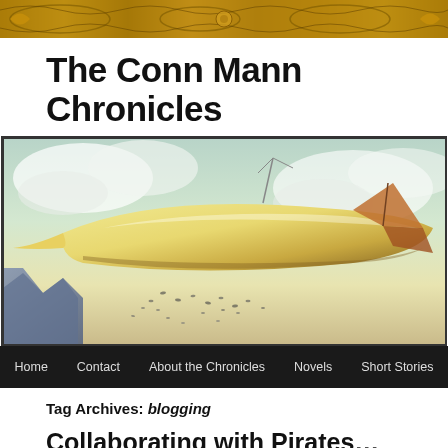[Figure (illustration): Decorative ornamental banner with gold/brown baroque scroll patterns and designs]
The Conn Mann Chronicles
[Figure (illustration): Fantasy digital artwork of a large airship/zeppelin flying through cloudy skies with masts and rigging, birds scattered below]
Home | Contact | About the Chronicles | Novels | Short Stories
Tag Archives: blogging
Collaborating with Pirates...